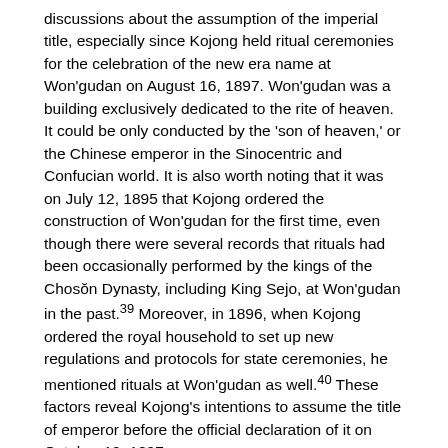discussions about the assumption of the imperial title, especially since Kojong held ritual ceremonies for the celebration of the new era name at Won'gudan on August 16, 1897. Won'gudan was a building exclusively dedicated to the rite of heaven. It could be only conducted by the 'son of heaven,' or the Chinese emperor in the Sinocentric and Confucian world. It is also worth noting that it was on July 12, 1895 that Kojong ordered the construction of Won'gudan for the first time, even though there were several records that rituals had been occasionally performed by the kings of the Chosŏn Dynasty, including King Sejo, at Won'gudan in the past.39 Moreover, in 1896, when Kojong ordered the royal household to set up new regulations and protocols for state ceremonies, he mentioned rituals at Won'gudan as well.40 These factors reveal Kojong's intentions to assume the title of emperor before the official declaration of it on October 12, 1897.
Once Kojong openly demonstrated his desire for the title by holding a ceremony at Won'gudan, high-ranking officials again submitted memorials to the throne from September 25, 1897. These memorials were continuously brought up to Kojong until October 3 when he finally approved their proposals and announced he would become an emperor. They were right to choose justification about the